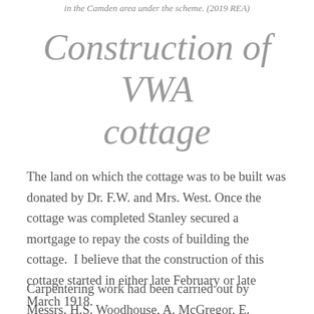in the Camden area under the scheme. (2019 REA)
Construction of VWA cottage
The land on which the cottage was to be built was donated by Dr. F.W. and Mrs. West. Once the cottage was completed Stanley secured a mortgage to repay the costs of building the cottage.  I believe that the construction of this cottage started in either late February or late March 1918.
Carpentering work had been carried out by Messrs. H.S. Woodhouse, A. McGregor, E. Corvan, and H. Patterson.